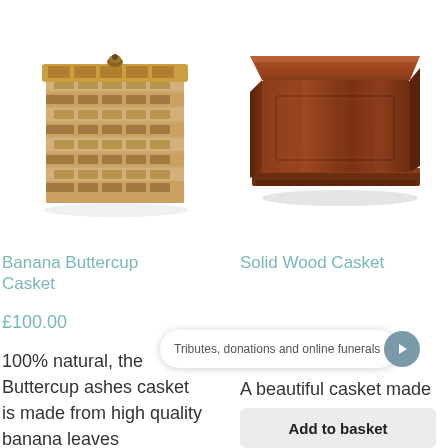[Figure (photo): A woven banana leaf ashes casket with a textured rectangular shape and a small button on top]
[Figure (photo): A solid wood casket in dark mahogany finish, rectangular box shape with a flat lid]
Banana Buttercup Casket
Solid Wood Casket
£100.00
Tributes, donations and online funerals
A beautiful casket made using hardwood
100% natural, the Buttercup ashes casket is made from high quality banana leaves
Add to basket